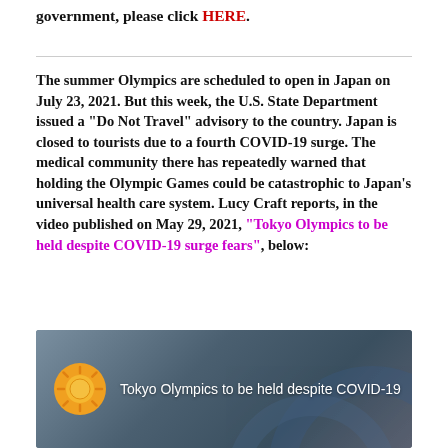government, please click HERE.
The summer Olympics are scheduled to open in Japan on July 23, 2021. But this week, the U.S. State Department issued a “Do Not Travel” advisory to the country. Japan is closed to tourists due to a fourth COVID-19 surge. The medical community there has repeatedly warned that holding the Olympic Games could be catastrophic to Japan’s universal health care system. Lucy Craft reports, in the video published on May 29, 2021, “Tokyo Olympics to be held despite COVID-19 surge fears”, below:
[Figure (screenshot): Video thumbnail showing Tokyo Olympics to be held despite COVID-19, with a CBS News sun logo icon and blue architectural rings in the background]